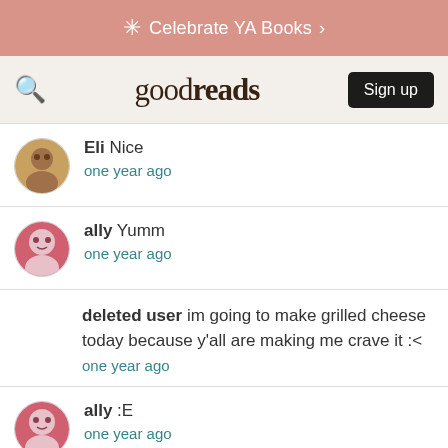Celebrate YA Books >
goodreads Sign up
Eli Nice
one year ago
ally Yumm
one year ago
deleted user im going to make grilled cheese today because y'all are making me crave it :<
one year ago
ally :E
one year ago
Eli wow quotes from this book are amazing
one year ago